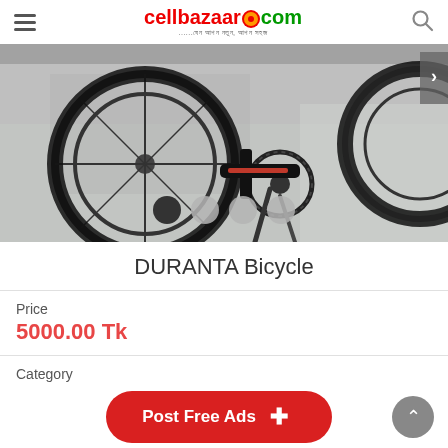cellbazaar.com
[Figure (photo): Close-up photo of a DURANTA bicycle showing the rear wheel, chain, gears and stand on a concrete floor. Four carousel navigation dots visible at bottom.]
DURANTA Bicycle
Price
5000.00 Tk
Category
Bicycles
Listing ID
#155964
Post Free Ads +